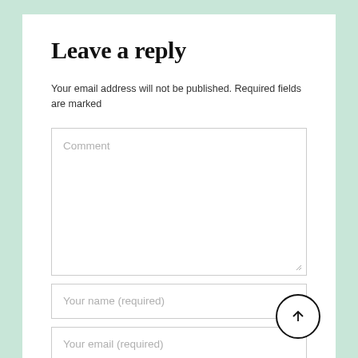Leave a reply
Your email address will not be published. Required fields are marked
[Figure (screenshot): Comment textarea input field with placeholder text 'Comment' and resize handle]
[Figure (screenshot): Text input field with placeholder 'Your name (required)']
[Figure (screenshot): Text input field with placeholder 'Your email (required)' with a circular scroll-to-top button overlapping bottom right]
[Figure (screenshot): Text input field with placeholder 'Your website' partially visible at bottom]